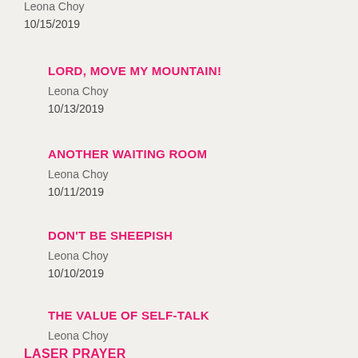Leona Choy
10/15/2019
LORD, MOVE MY MOUNTAIN!
Leona Choy
10/13/2019
ANOTHER WAITING ROOM
Leona Choy
10/11/2019
DON'T BE SHEEPISH
Leona Choy
10/10/2019
THE VALUE OF SELF-TALK
Leona Choy
9/28/2019
LASER PRAYER
Leona Choy